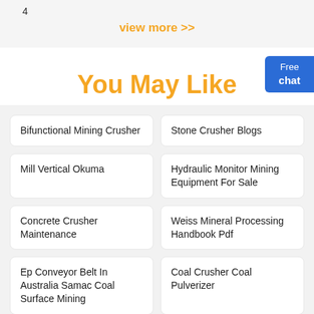4
view more >>
You May Like
Bifunctional Mining Crusher
Stone Crusher Blogs
Mill Vertical Okuma
Hydraulic Monitor Mining Equipment For Sale
Concrete Crusher Maintenance
Weiss Mineral Processing Handbook Pdf
Ep Conveyor Belt In Australia Samac Coal Surface Mining
Coal Crusher Coal Pulverizer